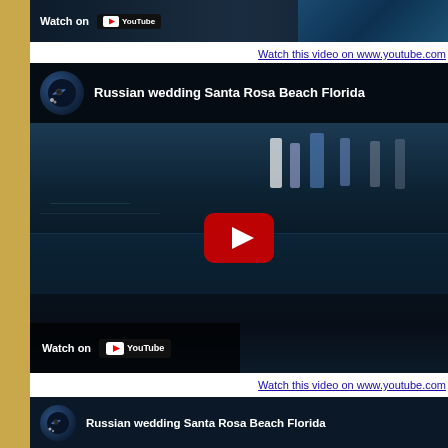[Figure (screenshot): YouTube video thumbnail strip at top showing partial 'Watch on YouTube' bar for a video (top edge cropped)]
Watch this video on www.youtube.com
[Figure (screenshot): YouTube embedded video thumbnail for 'Russian wedding Santa Rosa Beach Florida' showing an outdoor pool/wedding scene at night with a red play button in the center and 'Watch on YouTube' at the bottom]
Watch this video on www.youtube.com
[Figure (screenshot): Bottom strip of another YouTube video thumbnail for 'Russian wedding Santa Rosa Beach Florida' (partially visible)]